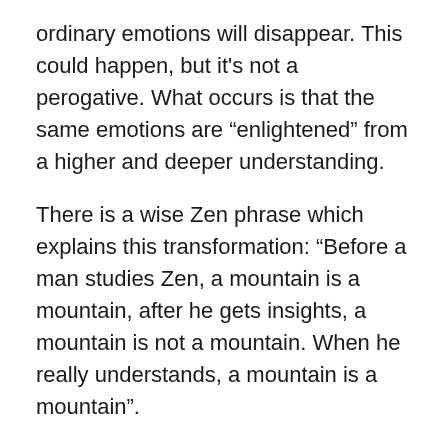ordinary emotions will disappear. This could happen, but it's not a perogative. What occurs is that the same emotions are “enlightened” from a higher and deeper understanding.
There is a wise Zen phrase which explains this transformation: “Before a man studies Zen, a mountain is a mountain, after he gets insights, a mountain is not a mountain. When he really understands, a mountain is a mountain”.
This quote describes an interesting fact: in an ordinary condition of consciousness, reality appears as covered by a sort of fog. We see things, but we don’t actually observe them, because the ordinary emotive is like a wild sea which does not allow us to see what is below its surface. Our feelings are pulled by mechanical reactions, mental